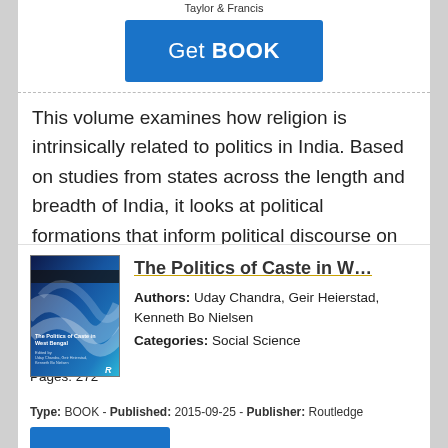Taylor & Francis
Get BOOK
This volume examines how religion is intrinsically related to politics in India. Based on studies from states across the length and breadth of India, it looks at political formations that inform political discourse on the national level and maps the trajectory of religion in politics. The chapters in this volume:
[Figure (illustration): Book cover for The Politics of Caste in West Bengal — dark blue abstract design with white curved shapes, black horizontal bar near top, small white title text.]
The Politics of Caste in W...
Authors: Uday Chandra, Geir Heierstad, Kenneth Bo Nielsen
Categories: Social Science
Language: en
Pages: 272
Type: BOOK - Published: 2015-09-25 - Publisher: Routledge